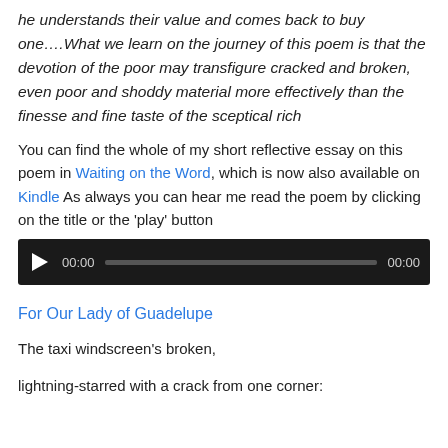he understands their value and comes back to buy one….What we learn on the journey of this poem is that the devotion of the poor may transfigure cracked and broken, even poor and shoddy material more effectively than the finesse and fine taste of the sceptical rich
You can find the whole of my short reflective essay on this poem in Waiting on the Word, which is now also available on Kindle As always you can hear me read the poem by clicking on the title or the 'play' button
[Figure (other): Audio player widget with black background, play button, time display showing 00:00, progress bar, and end time 00:00]
For Our Lady of Guadelupe
The taxi windscreen's broken,
lightning-starred with a crack from one corner: